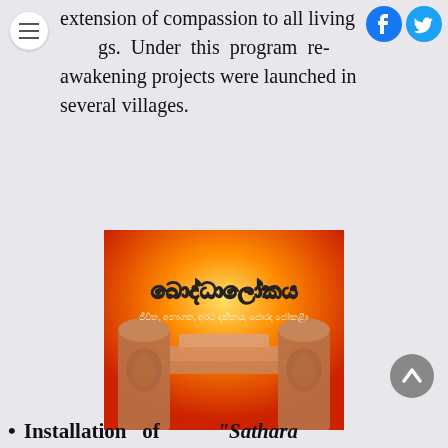extension of compassion to all living gs. Under this program re-awakening projects were launched in several villages.
[Figure (illustration): Book cover image with orange/red background showing stone steps flanked by carved pillars. Sinhala text at top reads 'බොද්ධාලෝකය' in white bold lettering with smaller Sinhala subtitle text below it.]
[Figure (other): Scroll-to-top circular button with upward chevron arrow]
Installation of "Sathara